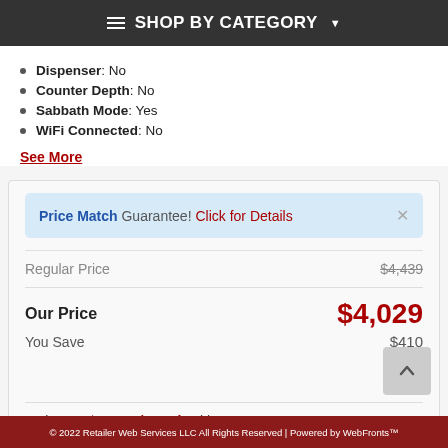SHOP BY CATEGORY
Dispenser: No
Counter Depth: No
Sabbath Mode: Yes
WiFi Connected: No
See More
Price Match Guarantee! Click for Details
Regular Price $4,439
Our Price $4,029
You Save $410
As low as $362.61/month with
© 2022 Retailer Web Services LLC All Rights Reserved | Powered by WebFronts™